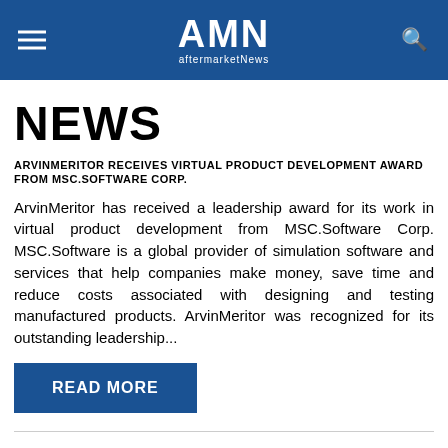AMN aftermarketNews
NEWS
ARVINMERITOR RECEIVES VIRTUAL PRODUCT DEVELOPMENT AWARD FROM MSC.SOFTWARE CORP.
ArvinMeritor has received a leadership award for its work in virtual product development from MSC.Software Corp. MSC.Software is a global provider of simulation software and services that help companies make money, save time and reduce costs associated with designing and testing manufactured products. ArvinMeritor was recognized for its outstanding leadership...
READ MORE